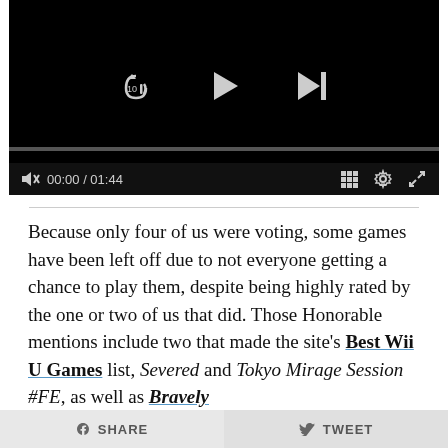[Figure (screenshot): Video player with black background showing playback controls: replay-10 button, play button, skip-next button, a progress bar, mute icon, time display 00:00 / 01:44, grid icon, settings icon, and fullscreen icon.]
Because only four of us were voting, some games have been left off due to not everyone getting a chance to play them, despite being highly rated by the one or two of us that did. Those Honorable mentions include two that made the site's Best Wii U Games list, Severed and Tokyo Mirage Session #FE, as well as Bravely Second and Mario & Luigi: Paper Jam for the 3DS. All were worthy, but only only ten could make our Best
SHARE   TWEET